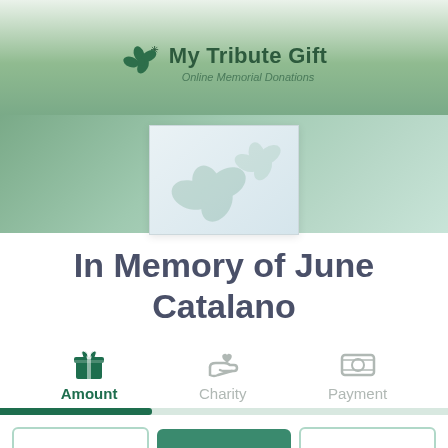[Figure (logo): My Tribute Gift logo with flower/clover icon and text 'My Tribute Gift - Online Memorial Donations']
[Figure (illustration): Memorial photo placeholder with soft green clover/flower watermark illustration on light blue-grey background]
In Memory of June Catalano
[Figure (infographic): Three-step donation process icons: gift box icon (Amount - active/green), heart on hand icon (Charity - inactive/grey), money icon (Payment - inactive/grey) with green progress bar below showing first step active]
[Figure (screenshot): Three buttons at bottom of page: outline button, teal/filled button, outline button - partially visible]